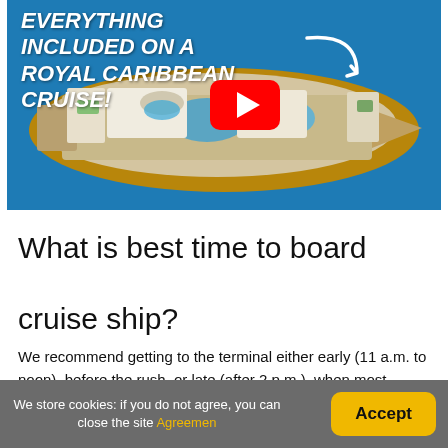[Figure (photo): Aerial top-down view of a Royal Caribbean cruise ship on blue ocean water, with bold italic white text overlay reading 'EVERYTHING INCLUDED ON A ROYAL CARIBBEAN CRUISE!' and a YouTube play button icon and a curved arrow.]
What is best time to board cruise ship?
We recommend getting to the terminal either early (11 a.m. to noon), before the rush, or late (after 2 p.m.), when most
We store cookies: if you do not agree, you can close the site Agreemen